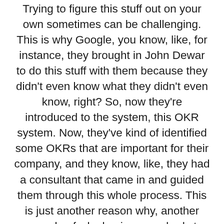Trying to figure this stuff out on your own sometimes can be challenging. This is why Google, you know, like, for instance, they brought in John Dewar to do this stuff with them because they didn't even know what they didn't even know, right? So, now they're introduced to the system, this OKR system. Now, they've kind of identified some OKRs that are important for their company, and they know, like, they had a consultant that came in and guided them through this whole process. This is just another reason why, another example of why having somebody to look on your stuff like third party, that coach, that mentor, to look at your stuff is so important.